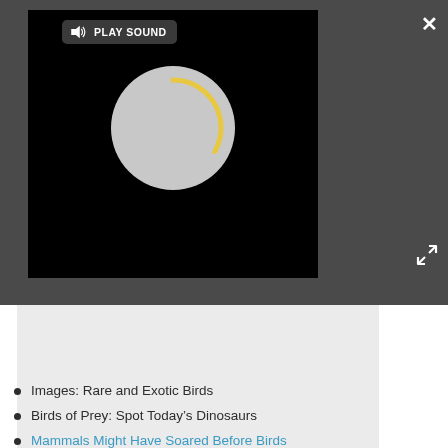[Figure (screenshot): A dark-themed media player UI showing a video player with a black background and a loading spinner (gray circle with a golden/yellow arc). A 'PLAY SOUND' button with a speaker icon is visible at the top left of the player. A close (X) button is at the top right of the toolbar, and an expand icon is at the lower right. Below the player is a light gray image placeholder area.]
Images: Rare and Exotic Birds
Birds of Prey: Spot Today's Dinosaurs
Mammals Might Have Soared Before Birds